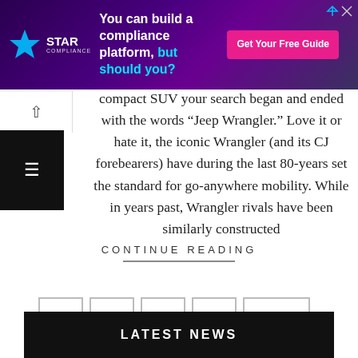[Figure (infographic): Star Compliance advertisement banner: 'You can build a compliance platform, but should you?' with Get Your Free Guide button]
compact SUV your search began and ended with the words “Jeep Wrangler.” Love it or hate it, the iconic Wrangler (and its CJ forebearers) have during the last 80-years set the standard for go-anywhere mobility. While in years past, Wrangler rivals have been similarly constructed
CONTINUE READING
1  2  ...  27  Next
LATEST NEWS